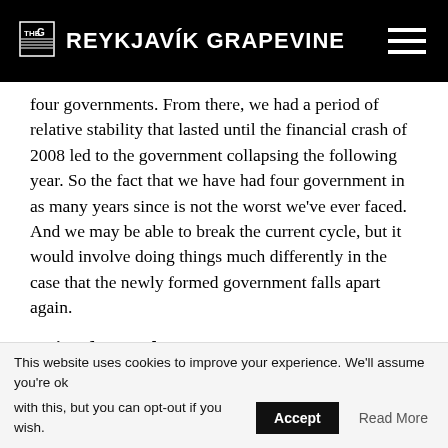THE REYKJAVIK GRAPEVINE
four governments. From there, we had a period of relative stability that lasted until the financial crash of 2008 led to the government collapsing the following year. So the fact that we have had four government in as many years since is not the worst we've ever faced. And we may be able to break the current cycle, but it would involve doing things much differently in the case that the newly formed government falls apart again.
Going forward
Should another coalition breakdown happen, and we're
This website uses cookies to improve your experience. We'll assume you're ok with this, but you can opt-out if you wish.